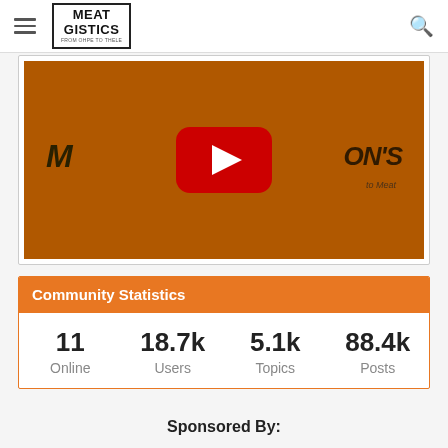MEATGISTICS
[Figure (screenshot): YouTube video thumbnail with orange/brown background showing a partially visible logo and YouTube play button]
| Online | Users | Topics | Posts |
| --- | --- | --- | --- |
| 11 | 18.7k | 5.1k | 88.4k |
Sponsored By: